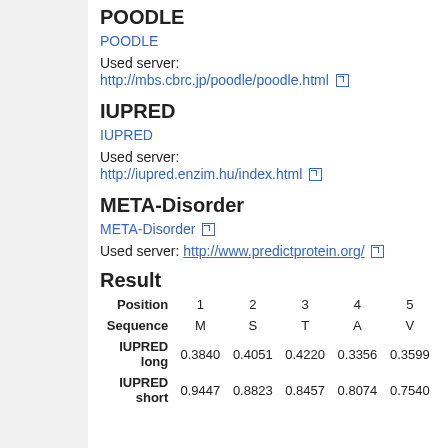POODLE
POODLE
Used server:
http://mbs.cbrc.jp/poodle/poodle.html
IUPRED
IUPRED
Used server:
http://iupred.enzim.hu/index.html
META-Disorder
META-Disorder
Used server: http://www.predictprotein.org/
Result
| Position | 1 | 2 | 3 | 4 | 5 |
| --- | --- | --- | --- | --- | --- |
| Sequence | M | S | T | A | V |
| IUPRED long | 0.3840 | 0.4051 | 0.4220 | 0.3356 | 0.3599 |
| IUPRED short | 0.9447 | 0.8823 | 0.8457 | 0.8074 | 0.7540 |